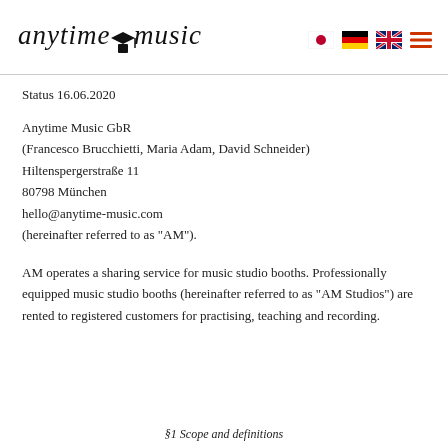anytime music [logo with flags: Japan, Germany, UK, hamburger menu]
Status 16.06.2020
Anytime Music GbR
(Francesco Brucchietti, Maria Adam, David Schneider)
Hiltenspergerstraße 11
80798 München
hello@anytime-music.com
(hereinafter referred to as "AM").
AM operates a sharing service for music studio booths. Professionally equipped music studio booths (hereinafter referred to as "AM Studios") are rented to registered customers for practising, teaching and recording.
§1 Scope and definitions